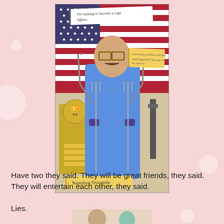[Figure (photo): Napoleon Dynamite movie promotional photo: a man in a blue sleeveless shirt holding two tridents/forks crossed over his chest, wearing glasses and a mustache, standing in front of an American flag. Sticky note labels read 'I'm training to become a cage fighter.' and 'Napoleon Dynamite'.]
Have two they said. They will be great friends, they said. They will entertain each other, they said.
Lies.
[Figure (photo): Partial bottom strip of another image, partially cut off.]